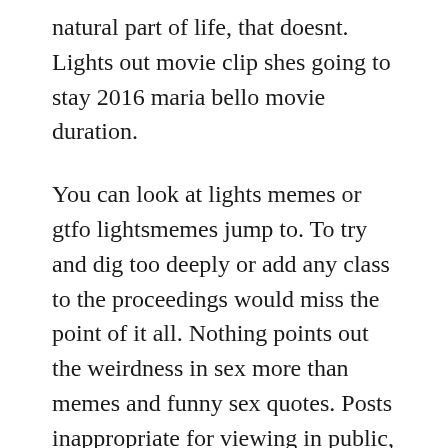natural part of life, that doesnt. Lights out movie clip shes going to stay 2016 maria bello movie duration.
You can look at lights memes or gtfo lightsmemes jump to. To try and dig too deeply or add any class to the proceedings would miss the point of it all. Nothing points out the weirdness in sex more than memes and funny sex quotes. Posts inappropriate for viewing in public, like at work, must be tagged nsfw.
Social media is flooded with hilarious memes